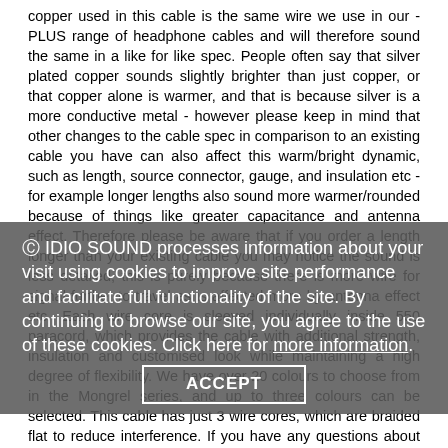copper used in this cable is the same wire we use in our -PLUS range of headphone cables and will therefore sound the same in a like for like spec. People often say that silver plated copper sounds slightly brighter than just copper, or that copper alone is warmer, and that is because silver is a more conductive metal - however please keep in mind that other changes to the cable spec in comparison to an existing cable you have can also affect this warm/bright dynamic, such as length, source connector, gauge, and insulation etc - for example longer lengths also sound more warmer/rounded because of things like greater capacitance and antenna effect. Therefore please be aware that if you order a length longer than your existing cable you may notice the sound is less detailed, this is purely because there is more wire for signal further to travel as is affected more by antenna effect etc. Each wire core is sleeved individually inside 550 paracord, which provides the cable with additional strength, insulation and customised look while maintaining a high degree of flexibility. We have over 20 colours to choose from in the Mongrel series, and up to three colours can be selected. This cable has just 3 wire cores, which are braided flat to reduce interference. If you have any questions about the options for this cable please feel free to contact us and we will get back to you as soon as we can.
© IDIO SOUND processes information about your visit using cookies to improve site performance and facilitate full functionality of the site. By continuing to browse our site, you agree to the use of these cookies. Click here for more information. ACCEPT